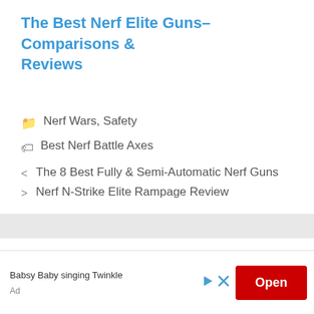The Best Nerf Elite Guns– Comparisons & Reviews
Nerf Wars, Safety
Best Nerf Battle Axes
< The 8 Best Fully & Semi-Automatic Nerf Guns
> Nerf N-Strike Elite Rampage Review
Search ...
Babsy Baby singing Twinkle
Ad
Open